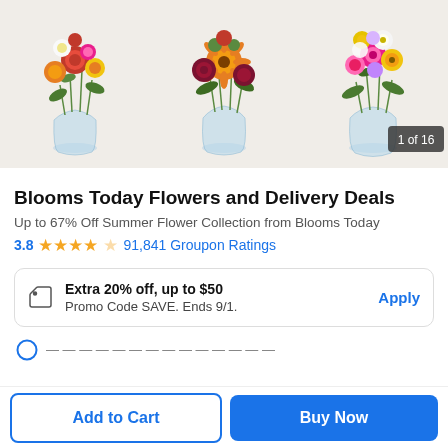[Figure (photo): Three colorful flower bouquet arrangements in glass vases displayed side by side. Badge '1 of 16' in bottom right corner. Left: warm-toned roses and mixed flowers. Center: orange gerbera daisies and burgundy flowers. Right: pink, yellow, and white mixed flowers.]
Blooms Today Flowers and Delivery Deals
Up to 67% Off Summer Flower Collection from Blooms Today
3.8 ★★★★☆ 91,841 Groupon Ratings
Extra 20% off, up to $50
Promo Code SAVE. Ends 9/1.
Apply
Add to Cart
Buy Now